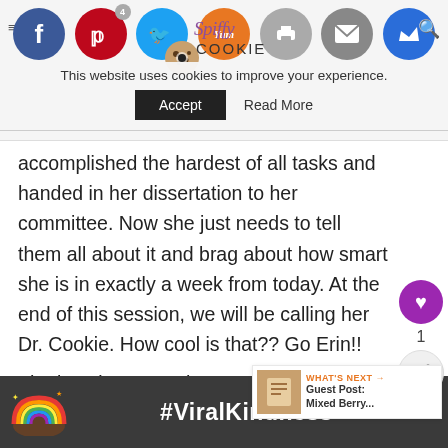[Figure (screenshot): Website header with social media share icons (Facebook, Pinterest, Twitter, Yummly, Print, Mail, Crown) and Spiffy Cookie logo with cookie icon]
This website uses cookies to improve your experience.
Accept   Read More
accomplished the hardest of all tasks and handed in her dissertation to her committee. Now she just needs to tell them all about it and brag about how smart she is in exactly a week from today. At the end of this session, we will be calling her Dr. Cookie. How cool is that?? Go Erin!!
The last time I was here, I was all about harnessing the last of fresh summer berries and
[Figure (infographic): Bottom advertisement bar with rainbow icon and #ViralKindness hashtag text on dark background]